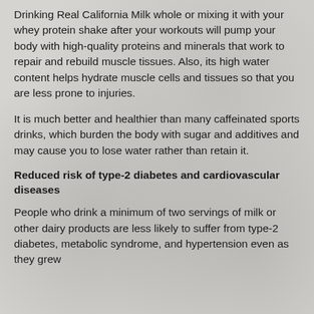Drinking Real California Milk whole or mixing it with your whey protein shake after your workouts will pump your body with high-quality proteins and minerals that work to repair and rebuild muscle tissues. Also, its high water content helps hydrate muscle cells and tissues so that you are less prone to injuries.
It is much better and healthier than many caffeinated sports drinks, which burden the body with sugar and additives and may cause you to lose water rather than retain it.
Reduced risk of type-2 diabetes and cardiovascular diseases
People who drink a minimum of two servings of milk or other dairy products are less likely to suffer from type-2 diabetes, metabolic syndrome, and hypertension even as they grew